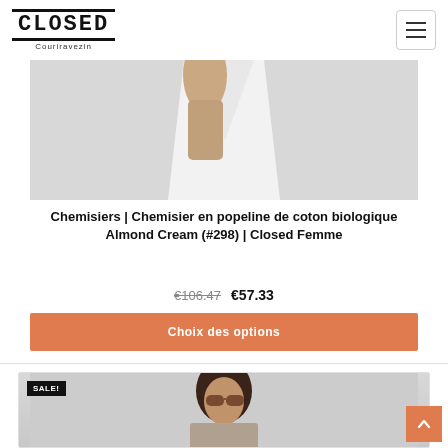CLOSED Couriravezin
[Figure (photo): Product photo of a white cotton shirt on a light grey background, partially showing a hand/arm holding the garment]
Chemisiers | Chemisier en popeline de coton biologique Almond Cream (#298) | Closed Femme
€106.47  €57.33
Choix des options
[Figure (photo): Product photo of a woman wearing sunglasses with a SALE! badge in the top-left corner, on a light grey background]